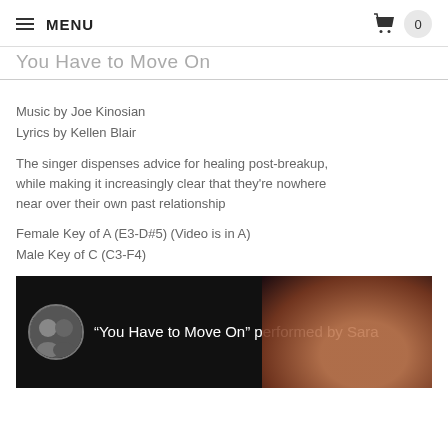MENU  0
You Have to Move On
Music by Joe Kinosian
Lyrics by Kellen Blair
The singer dispenses advice for healing post-breakup, while making it increasingly clear that they're nowhere near over their own past relationship
Female Key of A (E3-D#5) (Video is in A)
Male Key of C (C3-F4)
[Figure (screenshot): Video thumbnail showing two people in circular avatar on dark background with text: "You Have to Move On" performed by Sara, and a woman's face on the right side]